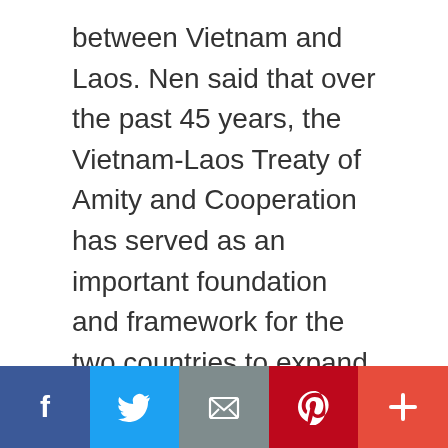between Vietnam and Laos. Nen said that over the past 45 years, the Vietnam-Laos Treaty of Amity and Cooperation has served as an important foundation and framework for the two countries to expand and deepen their friendship and all-round partnership. Secretary of the Party Committee of Ho Chi Minh City Nguyen Van Nen speaks at the event (Photo: VNA) Over the past 60 years, despite changes in the world situation and international relations, the brotherhood, sincere friendship, loyal comradeship and great solidarity of the two Parties, countries and peoples have grown strongly, he said. Nen expressed belief … [Read more...]
[Figure (infographic): Social sharing bar with Facebook, Twitter, Email, Pinterest, and More buttons]